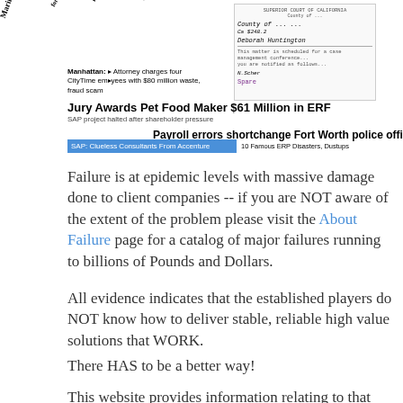[Figure (illustration): Collage of newspaper headlines and a court document about ERP failures, SAP disasters, and related news articles. Includes rotated text headlines, a court document image, blue-highlighted SAP text, and various article headlines about ERP project failures.]
Failure is at epidemic levels with massive damage done to client companies -- if you are NOT aware of the extent of the problem please visit the About Failure page for a catalog of major failures running to billions of Pounds and Dollars.
All evidence indicates that the established players do NOT know how to deliver stable, reliable high value solutions that WORK.
There HAS to be a better way!
This website provides information relating to that way